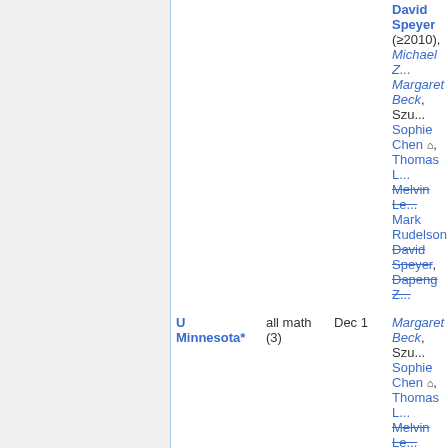| Institution | Area | Date | Notes |
| --- | --- | --- | --- |
|  |  |  | David Speyer (≥2010), Michael Z..., Margaret Beck, Szu..., Sophie Chen 🏠, Thomas L..., Melvin Le... [strikethrough], Mark Rudelson, David Speyer [strikethrough], Dapeng Z... [strikethrough] |
| U Minnesota* | all math (3) | Dec 1 | Margaret Beck, Szu..., Sophie Chen 🏠, Thomas L..., Melvin Le..., Mark Rudelson, David Speyer, Dapeng Z... |
| U Mississippi | all math | Nov 7 |  |
| U Nebraska* | analysis | Dec 5 | frozen |
| U Nebraska* | biomath | Dec 5 |  |
| U New Mexico | applied | Jan 7 | short list |
| U New Mexico | stat | Jan 1 |  |
| U North Carolina | geom, algebra | Dec 1 | Sabin Ca... |